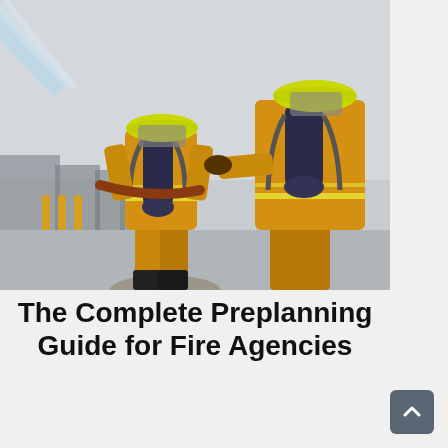[Figure (photo): Two firefighters in yellow protective gear and helmets with breathing apparatus tanks on their backs, holding a fire hose spraying water, photographed from behind against an overcast sky and industrial background.]
The Complete Preplanning Guide for Fire Agencies